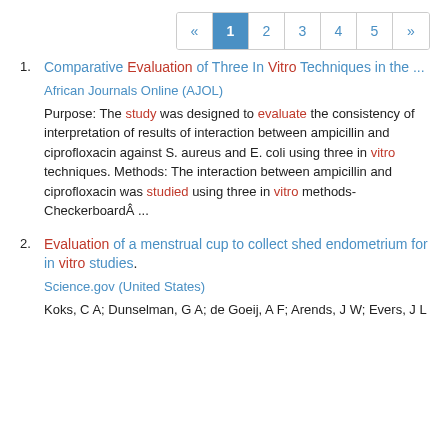« 1 2 3 4 5 »
1. Comparative Evaluation of Three In Vitro Techniques in the ... African Journals Online (AJOL) Purpose: The study was designed to evaluate the consistency of interpretation of results of interaction between ampicillin and ciprofloxacin against S. aureus and E. coli using three in vitro techniques. Methods: The interaction between ampicillin and ciprofloxacin was studied using three in vitro methods- CheckerboardÂ ...
2. Evaluation of a menstrual cup to collect shed endometrium for in vitro studies. Science.gov (United States) Koks, C A; Dunselman, G A; de Goeij, A F; Arends, J W; Evers, J L